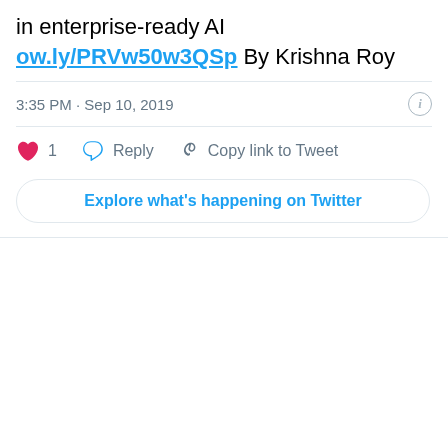in enterprise-ready AI ow.ly/PRVw50w3QSp By Krishna Roy
3:35 PM · Sep 10, 2019
1  Reply  Copy link to Tweet
Explore what's happening on Twitter